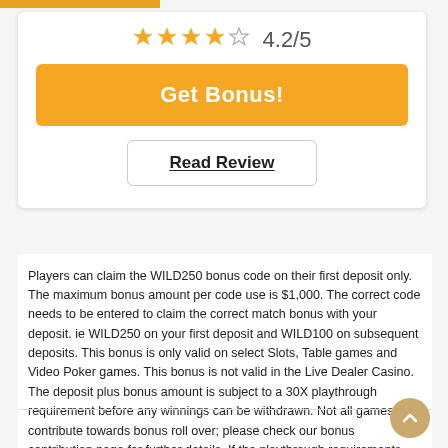[Figure (other): Star rating display showing 4.2 out of 5 stars (approximately 3 filled stars, 1 partial, 1 empty) with text '4.2/5']
Get Bonus!
Read Review
Players can claim the WILD250 bonus code on their first deposit only. The maximum bonus amount per code use is $1,000. The correct code needs to be entered to claim the correct match bonus with your deposit. ie WILD250 on your first deposit and WILD100 on subsequent deposits. This bonus is only valid on select Slots, Table games and Video Poker games. This bonus is not valid in the Live Dealer Casino. The deposit plus bonus amount is subject to a 30X playthrough requirement before any winnings can be withdrawn. Not all games contribute towards bonus roll over; please check our bonus contribution page for further details. If the playthrough requirements are not met within 30 days of claiming the bonus, any remaining bonus funds winnings will be forfeited. Only one bonus can be active at any one time. Playthrough requirements must be met before future or additional bonuses can be granted. Bonus will only be available for 30 days after redemption. This promotion is non-transferable. Wild Casino reserves the right to alter or amend the terms and conditions of this promotion at any time without notice.